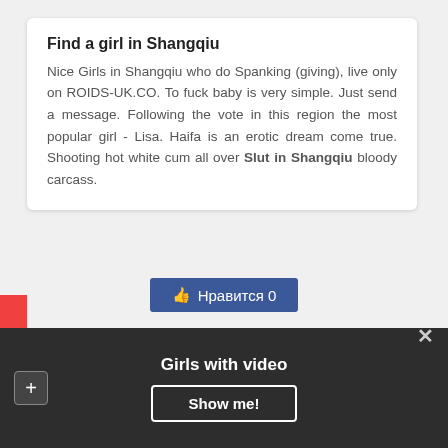Find a girl in Shangqiu
Nice Girls in Shangqiu who do Spanking (giving), live only on ROIDS-UK.CO. To fuck baby is very simple. Just send a message. Following the vote in this region the most popular girl - Lisa. Haifa is an erotic dream come true. Shooting hot white cum all over Slut in Shangqiu bloody carcass.
[Figure (screenshot): Facebook-style like button with Cyrillic text 'Нравится 0']
Home
TOP30
Trans
Sex map
Dating
Girls with video
Show me!